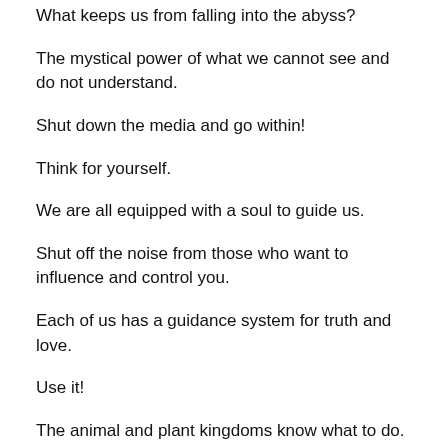What keeps us from falling into the abyss?
The mystical power of what we cannot see and do not understand.
Shut down the media and go within!
Think for yourself.
We are all equipped with a soul to guide us.
Shut off the noise from those who want to influence and control you.
Each of us has a guidance system for truth and love.
Use it!
The animal and plant kingdoms know what to do.